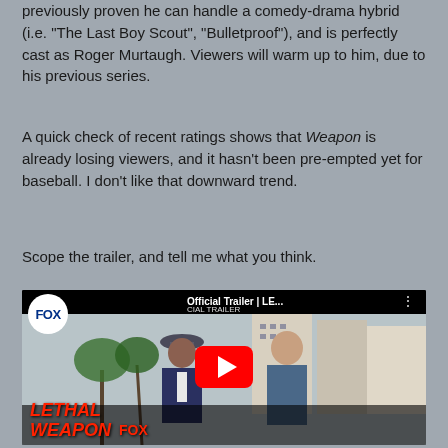previously proven he can handle a comedy-drama hybrid (i.e. "The Last Boy Scout", "Bulletproof"), and is perfectly cast as Roger Murtaugh. Viewers will warm up to him, due to his previous series.
A quick check of recent ratings shows that Weapon is already losing viewers, and it hasn't been pre-empted yet for baseball. I don't like that downward trend.
Scope the trailer, and tell me what you think.
[Figure (screenshot): YouTube video thumbnail for Lethal Weapon FOX Official Trailer showing two men standing outdoors, one in a suit with a hat, one in a blue shirt. FOX logo in white circle top left. Red YouTube play button in center. 'LETHAL WEAPON' and 'FOX' text in red at bottom left.]